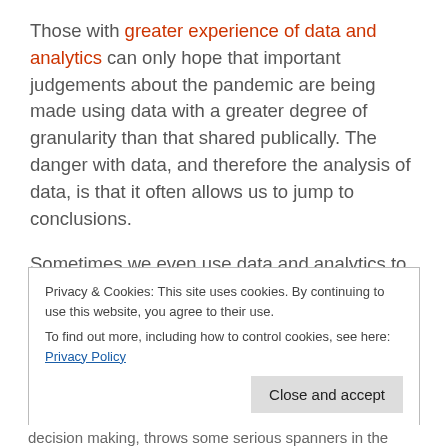Those with greater experience of data and analytics can only hope that important judgements about the pandemic are being made using data with a greater degree of granularity than that shared publically. The danger with data, and therefore the analysis of data, is that it often allows us to jump to conclusions.
Sometimes we even use data and analytics to ratify and justify intuitive decisions that we have already made. If the data and analysis support these personal viewpoints, then surely everything stacks up, doesn't it?
Privacy & Cookies: This site uses cookies. By continuing to use this website, you agree to their use. To find out more, including how to control cookies, see here: Privacy Policy
decision making, throws some serious spanners in the